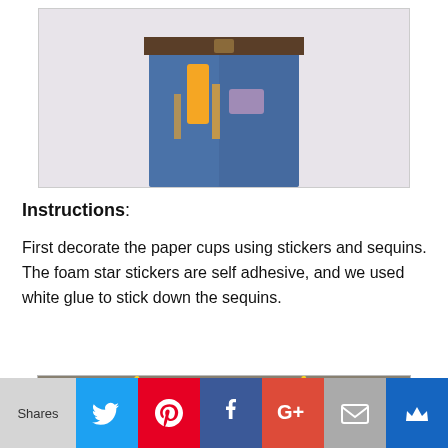[Figure (photo): Photo of a child's lower body wearing jeans with a decorated paper cup craft held in front]
Instructions:
First decorate the paper cups using stickers and sequins. The foam star stickers are self adhesive, and we used white glue to stick down the sequins.
[Figure (photo): Photo of two decorated paper cups with foam star stickers and sequins, watermarked 'Jennifer's Little World']
Shares | Twitter | Pinterest | Facebook | Google+ | Email | Crown